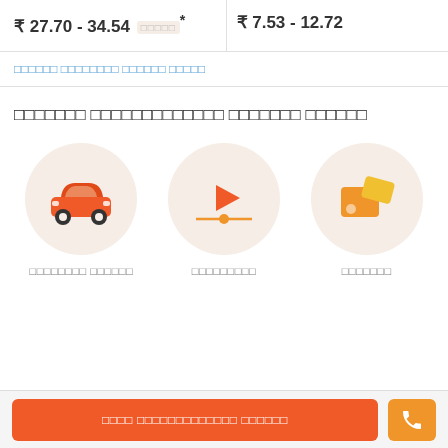₹ 27.70 - 34.54 □□□□□*
₹ 7.53 - 12.72
□□□□□□ □□□□□□□□ □□□□□□ □□□□□
□□□□□□□ □□□□□□□□□□□□□ □□□□□□□ □□□□□□
[Figure (illustration): Orange car icon on light peach circular background]
[Figure (illustration): Orange video play button / media player icon on light peach circular background]
[Figure (illustration): Orange scissors/cutting tool icon on light peach circular background]
□□□□□□□□ □□□□□□
□□□□□□□□□
□□□□□□□
□□□□ □□□□□□□□□□□□□ □□□□□□
[Figure (illustration): Phone icon]